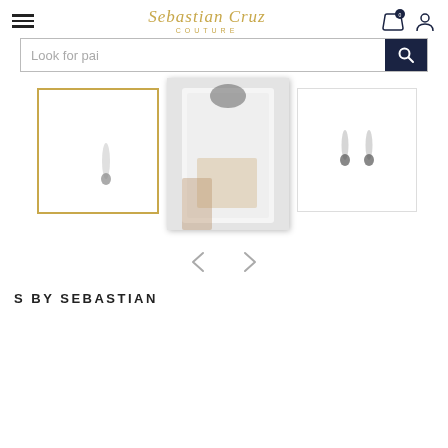Sebastian Cruz Couture
[Figure (screenshot): Search bar with text 'Look for pai' and dark blue search button with magnifying glass icon]
[Figure (photo): Three product thumbnail images: left thumbnail with gold border showing a small earring, center larger image showing a white garment on a person (blurred), right thumbnail showing two small dark earrings on white background]
[Figure (other): Navigation arrows (left and right chevron arrows) for image carousel]
S BY SEBASTIAN